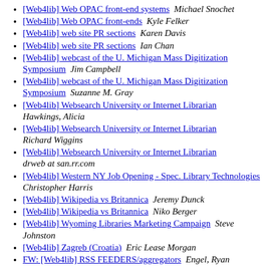[Web4lib] Web OPAC front-end systems  Michael Snochet
[Web4lib] Web OPAC front-ends  Kyle Felker
[Web4lib] web site PR sections  Karen Davis
[Web4lib] web site PR sections  Ian Chan
[Web4lib] webcast of the U. Michigan Mass Digitization Symposium  Jim Campbell
[Web4lib] webcast of the U. Michigan Mass Digitization Symposium  Suzanne M. Gray
[Web4lib] Websearch University or Internet Librarian  Hawkings, Alicia
[Web4lib] Websearch University or Internet Librarian  Richard Wiggins
[Web4lib] Websearch University or Internet Librarian  drweb at san.rr.com
[Web4lib] Western NY Job Opening - Spec. Library Technologies  Christopher Harris
[Web4lib] Wikipedia vs Britannica  Jeremy Dunck
[Web4lib] Wikipedia vs Britannica  Niko Berger
[Web4lib] Wyoming Libraries Marketing Campaign  Steve Johnston
[Web4lib] Zagreb (Croatia)  Eric Lease Morgan
FW: [Web4lib] RSS FEEDERS/aggregators  Engel, Ryan
Last message date: Fri Mar 31 12:50:18 EST 2006
Archived on: Fri Mar 31 15:34:16 EST 2006